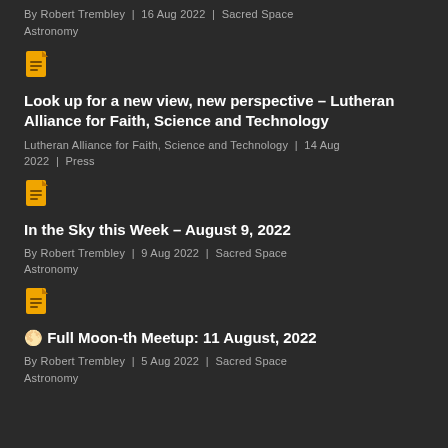By Robert Trembley | 16 Aug 2022 | Sacred Space Astronomy
[Figure (other): Document/article icon in yellow/orange]
Look up for a new view, new perspective – Lutheran Alliance for Faith, Science and Technology
Lutheran Alliance for Faith, Science and Technology | 14 Aug 2022 | Press
[Figure (other): Document/article icon in yellow/orange]
In the Sky this Week – August 9, 2022
By Robert Trembley | 9 Aug 2022 | Sacred Space Astronomy
[Figure (other): Document/article icon in yellow/orange]
🌕 Full Moon-th Meetup: 11 August, 2022
By Robert Trembley | 5 Aug 2022 | Sacred Space Astronomy